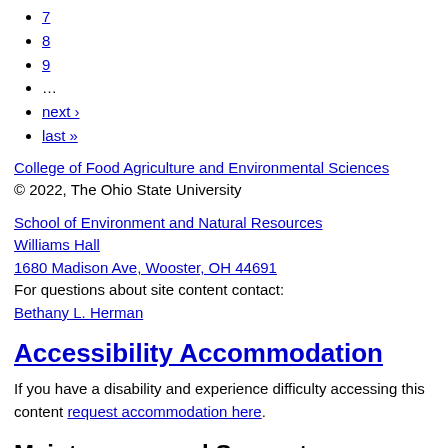7
8
9
…
next ›
last »
College of Food Agriculture and Environmental Sciences
© 2022, The Ohio State University
School of Environment and Natural Resources
Williams Hall
1680 Madison Ave, Wooster, OH 44691
For questions about site content contact:
Bethany L. Herman
Accessibility Accommodation
If you have a disability and experience difficulty accessing this content request accommodation here.
Maintenance and Support
This site designed and maintained by CFAES Marketing and